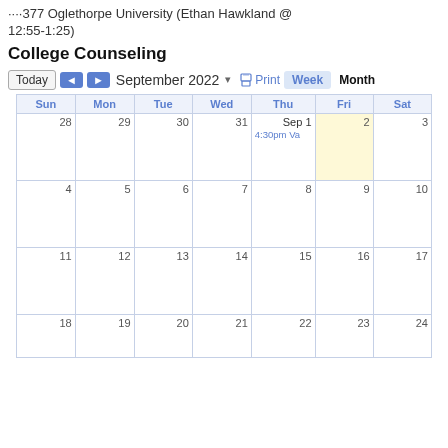····377 Oglethorpe University (Ethan Hawkland @ 12:55-1:25)
College Counseling
Today ◄ ► September 2022 ▾ 🖨 Print  Week  Month
| Sun | Mon | Tue | Wed | Thu | Fri | Sat |
| --- | --- | --- | --- | --- | --- | --- |
| 28 | 29 | 30 | 31 | Sep 1
4:30pm Va | 2 | 3 |
| 4 | 5 | 6 | 7 | 8 | 9 | 10 |
| 11 | 12 | 13 | 14 | 15 | 16 | 17 |
| 18 | 19 | 20 | 21 | 22 | 23 | 24 |